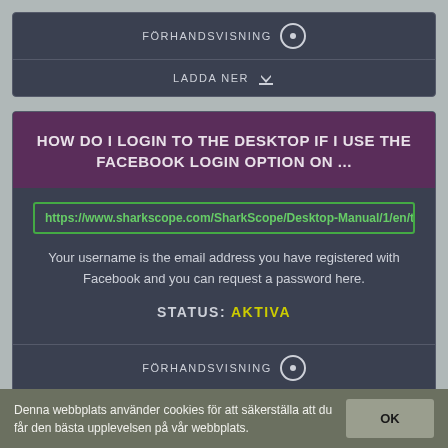FÖRHANDSVISNING
LADDA NER
HOW DO I LOGIN TO THE DESKTOP IF I USE THE FACEBOOK LOGIN OPTION ON ...
https://www.sharkscope.com/SharkScope/Desktop-Manual/1/en/topic/ho
Your username is the email address you have registered with Facebook and you can request a password here.
STATUS: AKTIVA
FÖRHANDSVISNING
LADDA NER
Denna webbplats använder cookies för att säkerställa att du får den bästa upplevelsen på vår webbplats.